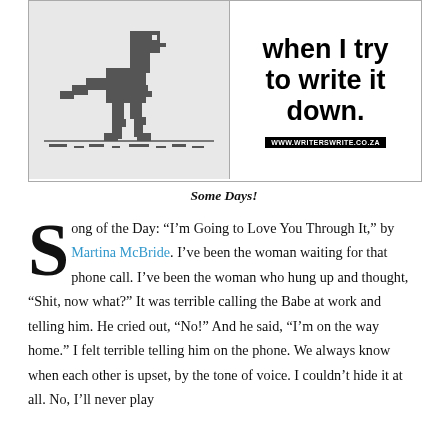[Figure (illustration): Two-panel box: left panel shows a pixel-art dinosaur (Google Chrome offline dino game character) on a grey background; right panel has large bold text reading 'when I try to write it down.' with URL 'WWW.WRITERSWRITE.CO.ZA' in a black box.]
Some Days!
Song of the Day: “I’m Going to Love You Through It,” by Martina McBride. I’ve been the woman waiting for that phone call. I’ve been the woman who hung up and thought, “Shit, now what?” It was terrible calling the Babe at work and telling him. He cried out, “No!” And he said, “I’m on the way home.” I felt terrible telling him on the phone. We always know when each other is upset, by the tone of voice. I couldn’t hide it at all. No, I’ll never play